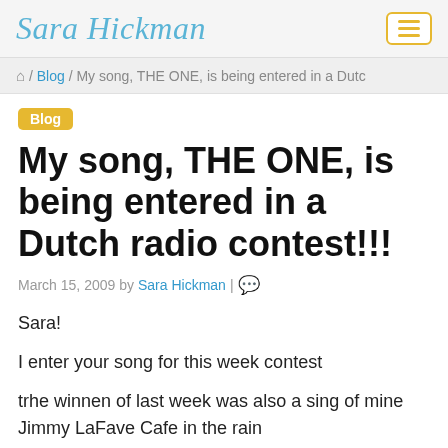Sara Hickman
🏠 / Blog / My song, THE ONE, is being entered in a Dutch
Blog
My song, THE ONE, is being entered in a Dutch radio contest!!!
March 15, 2009 by Sara Hickman |
Sara!
I enter your song for this week contest
trhe winnen of last week was also a sing of mine Jimmy LaFave Cafe in the rain